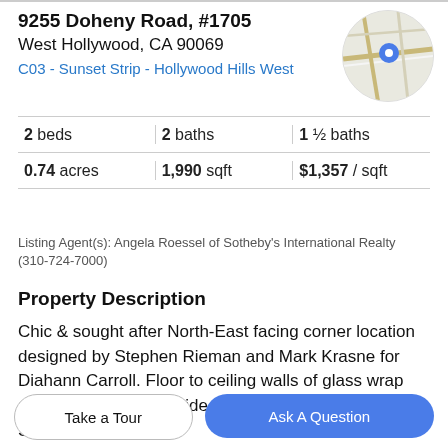9255 Doheny Road, #1705
West Hollywood, CA 90069
C03 - Sunset Strip - Hollywood Hills West
[Figure (map): Circular map thumbnail showing street map with a blue location pin marker]
| 2 beds | 2 baths | 1 ½ baths |
| 0.74 acres | 1,990 sqft | $1,357 / sqft |
Listing Agent(s): Angela Roessel of Sotheby's International Realty (310-724-7000)
Property Description
Chic & sought after North-East facing corner location designed by Stephen Rieman and Mark Krasne for Diahann Carroll. Floor to ceiling walls of glass wrap around the unit & provide electrifying views of the Sunset